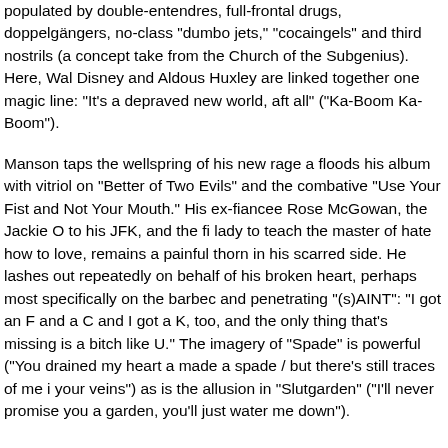populated by double-entendres, full-frontal drugs, doppelgängers, no-class "dumbo jets," "cocaingels" and third nostrils (a concept taken from the Church of the Subgenius). Here, Walt Disney and Aldous Huxley are linked together by one magic line: "It's a depraved new world, after all" ("Ka-Boom Ka-Boom").
Manson taps the wellspring of his new rage and floods his album with vitriol on "Better of Two Evils" and the combative "Use Your Fist and Not Your Mouth." His ex-fiancee Rose McGowan, the Jackie O to his JFK, and the first lady to teach the master of hate how to love, remains a painful thorn in his scarred side. He lashes out repeatedly on behalf of his broken heart, perhaps most specifically on the barbecued and penetrating "(s)AINT": "I got an F and a C and I got a K, too, and the only thing that's missing is a bitch like U." The imagery of "Spade" is powerful ("You drained my heart and made a spade / but there's still traces of me in your veins") as is the allusion in "Slutgarden" ("I'll never promise you a garden, you'll just water me down").